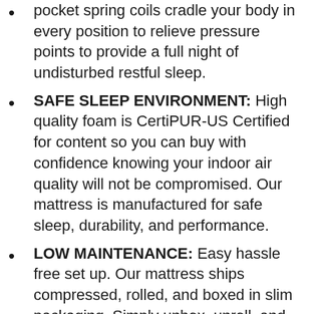pocket spring coils cradle your body in every position to relieve pressure points to provide a full night of undisturbed restful sleep.
SAFE SLEEP ENVIRONMENT: High quality foam is CertiPUR-US Certified for content so you can buy with confidence knowing your indoor air quality will not be compromised. Our mattress is manufactured for safe sleep, durability, and performance.
LOW MAINTENANCE: Easy hassle free set up. Our mattress ships compressed, rolled, and boxed in slim packaging. Simply unbox, unroll, and unpackage; safe to sleep on immediately. Fully expands within 48-72 hours. Boxed mattress fits most